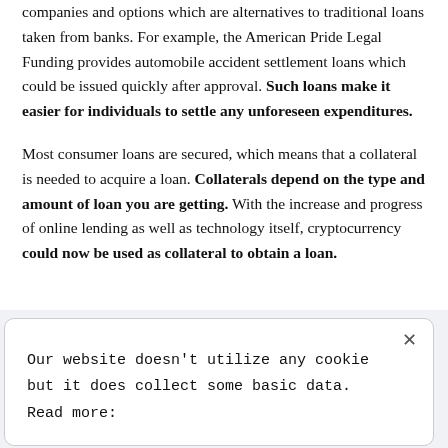companies and options which are alternatives to traditional loans taken from banks. For example, the American Pride Legal Funding provides automobile accident settlement loans which could be issued quickly after approval. Such loans make it easier for individuals to settle any unforeseen expenditures.

Most consumer loans are secured, which means that a collateral is needed to acquire a loan. Collaterals depend on the type and amount of loan you are getting. With the increase and progress of online lending as well as technology itself, cryptocurrency could now be used as collateral to obtain a loan.
Our website doesn't utilize any cookie but it does collect some basic data. Read more: